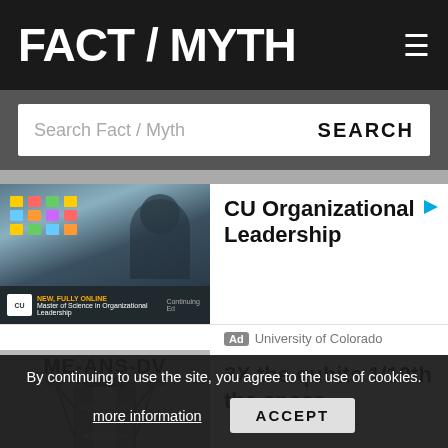FACT / MYTH
Search Fact / Myth SEARCH
[Figure (photo): Advertisement photo: man in suit pointing at sticky notes on a whiteboard in a business meeting. Overlay text: Continuing Ed, NEW, FULLY ONLINE, Master of Science in Organizational Leadership]
CU Organizational Leadership
Ad University of Colorado
[Figure (photo): Advertisement image: quantum computing machine with cylindrical metal cryogenic structure. Text overlay: ME-ANS-DV]
3X the qubits 1/10th the space
[Figure (photo): Partial image of a Last Will and Testament document at bottom left]
r Family
By continuing to use the site, you agree to the use of cookies. more information ACCEPT